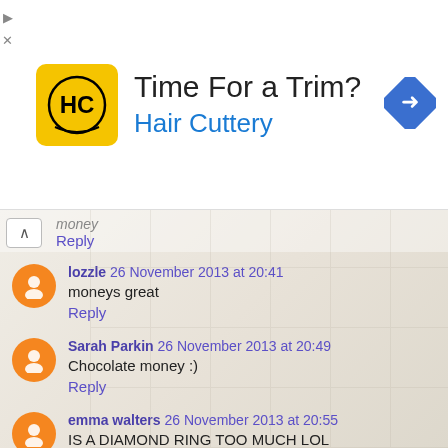[Figure (other): Advertisement banner for Hair Cuttery with logo, 'Time For a Trim?' headline, and directional arrow icon]
money
Reply
lozzle 26 November 2013 at 20:41
moneys great
Reply
Sarah Parkin 26 November 2013 at 20:49
Chocolate money :)
Reply
emma walters 26 November 2013 at 20:55
IS A DIAMOND RING TOO MUCH LOL